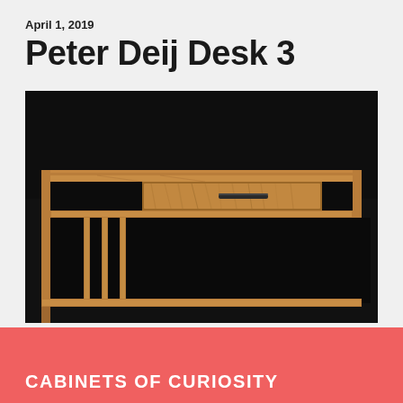April 1, 2019
Peter Deij Desk 3
[Figure (photo): Close-up photograph of a wooden desk with a dark background. The desk is made of walnut wood with visible grain patterns. It features a central drawer with a dark metal handle, open shelving compartments on either side, and elegant vertical slats below the surface. The warm brown wood contrasts strongly against the near-black background.]
CABINETS OF CURIOSITY